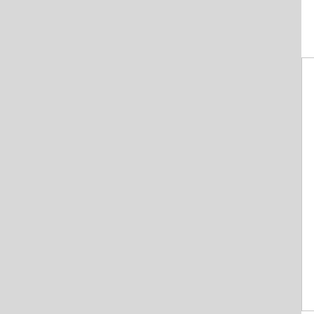CoMSE 2023   2023 International Confe...
ICCES--EI, Scopus 2023   The 29th Intern...
IOP, EI, Scopus-EMECS 2022   2022 Inter... (EMECS 2022)-EI Compendex
ICSMM 2022   2022 6th International Conf...
SAMDE 2022   2022 International Sympos...
ARAE--Ei 2023   2023 the 2nd Internationa...
CEAC--EI, Scopus 2023   2023 3rd Interna... Scopus
ICBMC--EI, Scopus 2023   2023 8th Intern... Compendex, Scopus
AMRMT-Beijing 2022   2022 7th Internatio... (AMRMT 2022)
ICMMT 2023   2023 14th International Con...
About Us | Contact Us | Data | Privacy Policy | Terms ar... Partners: AI2's Semantic Scholar This wiki is licensed under a Creative Commons Attribu...